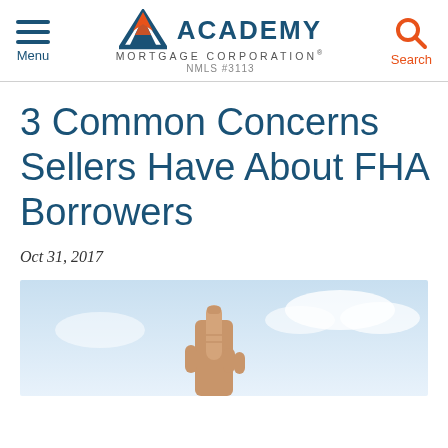Menu | Academy Mortgage Corporation® NMLS #3113 | Search
3 Common Concerns Sellers Have About FHA Borrowers
Oct 31, 2017
[Figure (photo): Close-up photo of a hand pointing upward against a light blue sky background]